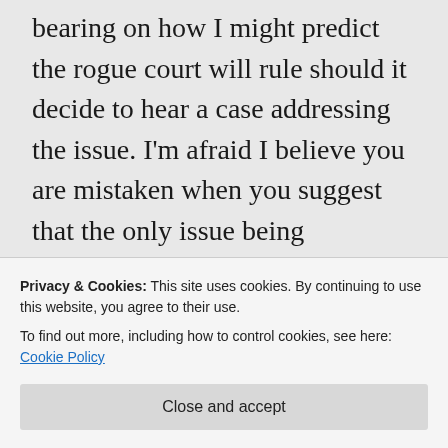bearing on how I might predict the rogue court will rule should it decide to hear a case addressing the issue. I'm afraid I believe you are mistaken when you suggest that the only issue being addressed prior to Utah being admitted as a state was the legal ramifications of polygamy. I suggest if you do some research you will find that the Mormon Church actually did change its' dogma to fall in line with the value systems of all the
Privacy & Cookies: This site uses cookies. By continuing to use this website, you agree to their use.
To find out more, including how to control cookies, see here: Cookie Policy